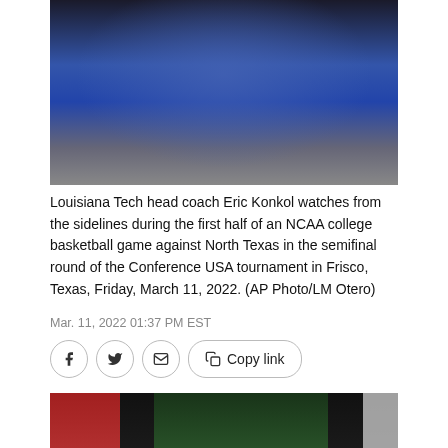[Figure (photo): Louisiana Tech head coach Eric Konkol in blue shirt watching from sidelines during basketball game]
Louisiana Tech head coach Eric Konkol watches from the sidelines during the first half of an NCAA college basketball game against North Texas in the semifinal round of the Conference USA tournament in Frisco, Texas, Friday, March 11, 2022. (AP Photo/LM Otero)
Mar. 11, 2022 01:37 PM EST
[Figure (photo): Basketball action photo showing player in green North Texas uniform driving to basket against red-uniformed opponent with crowd in background]